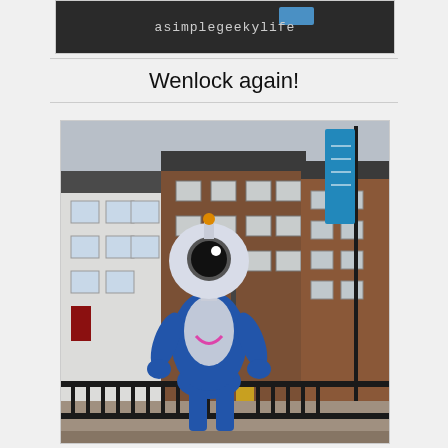[Figure (photo): Top banner photo showing 'asimplegeekylife' website logo/header on dark background with blue accent]
Wenlock again!
[Figure (photo): Photo of Wenlock, the London 2012 Olympic mascot (silver and blue figurine with one large eye), standing outdoors in front of brick buildings in London. A blue 'inspire a generation' banner is visible on a pole to the right. Black iron railings are in the foreground.]